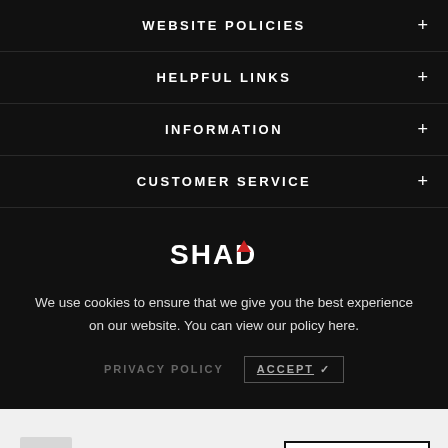WEBSITE POLICIES
HELPFUL LINKS
INFORMATION
CUSTOMER SERVICE
[Figure (logo): SHAD brand logo in white bold text with a red triangle accent above the A]
We use cookies to ensure that we give you the best experience on our website. You can view our policy here.
PRIVACY POLICY   ACCEPT ✓
£105.99   ADD TO CART